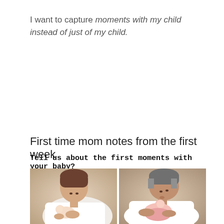I want to capture moments with my child instead of just of my child.
First time mom notes from the first week
Tell us about the first moments with your baby?
[Figure (photo): Two side-by-side photos of parents cradling newborn babies. Left photo shows a woman in a white shirt looking down at a newborn she holds in her arms. Right photo shows a man in a white shirt kissing the head of a newborn he holds.]